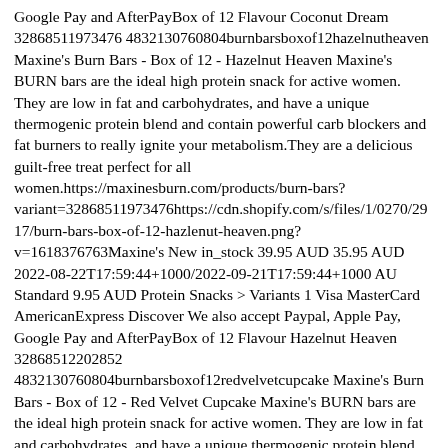Google Pay and AfterPayBox of 12 Flavour Coconut Dream 32868511973476 4832130760804burnbarsboxof12hazelnutheaven Maxine's Burn Bars - Box of 12 - Hazelnut Heaven Maxine's BURN bars are the ideal high protein snack for active women. They are low in fat and carbohydrates, and have a unique thermogenic protein blend and contain powerful carb blockers and fat burners to really ignite your metabolism.They are a delicious guilt-free treat perfect for all women.https://maxinesburn.com/products/burn-bars?variant=32868511973476https://cdn.shopify.com/s/files/1/0270/2917/burn-bars-box-of-12-hazlenut-heaven.png?v=1618376763Maxine's New in_stock 39.95 AUD 35.95 AUD 2022-08-22T17:59:44+1000/2022-09-21T17:59:44+1000 AU Standard 9.95 AUD Protein Snacks > Variants 1 Visa MasterCard AmericanExpress Discover We also accept Paypal, Apple Pay, Google Pay and AfterPayBox of 12 Flavour Hazelnut Heaven 32868512202852 4832130760804burnbarsboxof12redvelvetcupcake Maxine's Burn Bars - Box of 12 - Red Velvet Cupcake Maxine's BURN bars are the ideal high protein snack for active women. They are low in fat and carbohydrates, and have a unique thermogenic protein blend and contain powerful carb blockers and fat burners to really ignite your metabolism.They are a delicious guilt-free treat perfect for all women.https://maxinesburn.com/products/burn-bars?variant=32868512202852https://cdn.shopify.com/s/files/1/0270/2917/burn-bars-box-of-12-red-velvet-cupcake.png?